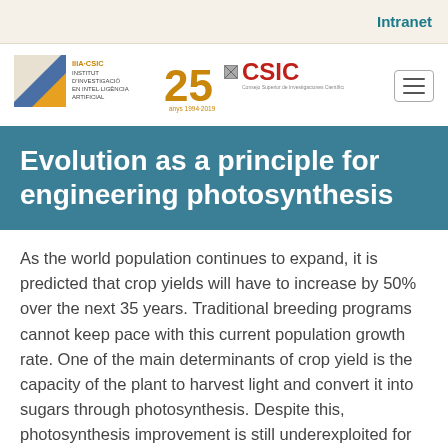Intranet
[Figure (logo): IIIA-CSIC Institut d'Investigació en Intel·ligència Artificial 25 anys 1994-2019 logo alongside CSIC logo]
Evolution as a principle for engineering photosynthesis
As the world population continues to expand, it is predicted that crop yields will have to increase by 50% over the next 35 years. Traditional breeding programs cannot keep pace with this current population growth rate. One of the main determinants of crop yield is the capacity of the plant to harvest light and convert it into sugars through photosynthesis. Despite this, photosynthesis improvement is still underexploited for